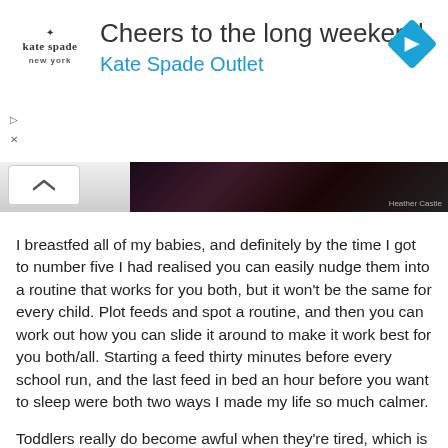[Figure (screenshot): Advertisement banner for Kate Spade Outlet with logo, headline 'Cheers to the long weekend', subline 'Kate Spade Outlet', and a blue diamond navigation icon on the right.]
[Figure (photo): Partial dark image strip at the top of the article content area, partially hidden behind a chevron/collapse tab.]
I breastfed all of my babies, and definitely by the time I got to number five I had realised you can easily nudge them into a routine that works for you both, but it won't be the same for every child. Plot feeds and spot a routine, and then you can work out how you can slide it around to make it work best for you both/all. Starting a feed thirty minutes before every school run, and the last feed in bed an hour before you want to sleep were both two ways I made my life so much calmer.
Toddlers really do become awful when they're tired, which is no fun all round. The amount of sleep they need varies a bit, but the way they get it varies massively. Two of my children had dropped a daytime sleep by 18 months, one would still regularly sleep every afternoon aged 3 1/2. Life is definitely